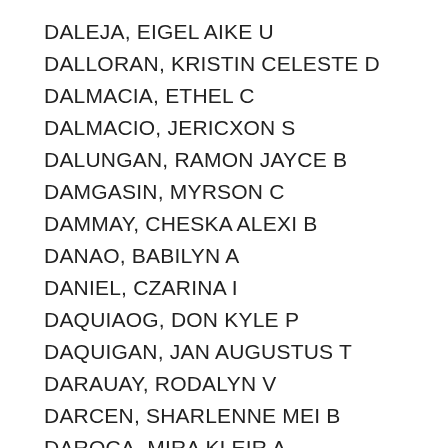DALEJA, EIGEL AIKE U
DALLORAN, KRISTIN CELESTE D
DALMACIA, ETHEL C
DALMACIO, JERICXON S
DALUNGAN, RAMON JAYCE B
DAMGASIN, MYRSON C
DAMMAY, CHESKA ALEXI B
DANAO, BABILYN A
DANIEL, CZARINA I
DAQUIAOG, DON KYLE P
DAQUIGAN, JAN AUGUSTUS T
DARAUAY, RODALYN V
DARCEN, SHARLENNE MEI B
DAROCA, MIRA KLEIR A